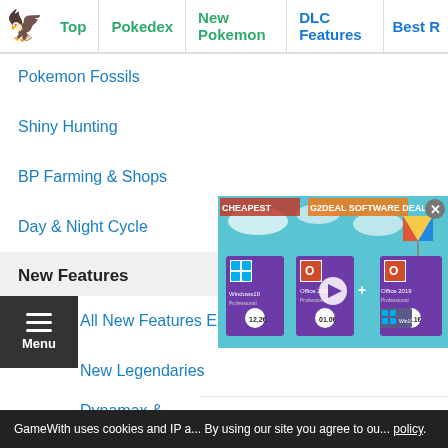Top | Pokedex | New Pokemon | DLC Features | Best R
Pokemon Fossils
Shiny Hunting
BP Farming & Shops
Day & Night Cycle
New Features
All New Features Explained
New Legendaries
Dynamax & Gigantamax
Max Raid Battle
[Figure (screenshot): Advertisement banner for G2Deal Software Deal showing Windows 10 and Office products with prices 12.2€, 01.0€, 38.1€]
GameWith uses cookies and IP a... By using our site you agree to ou... policy.